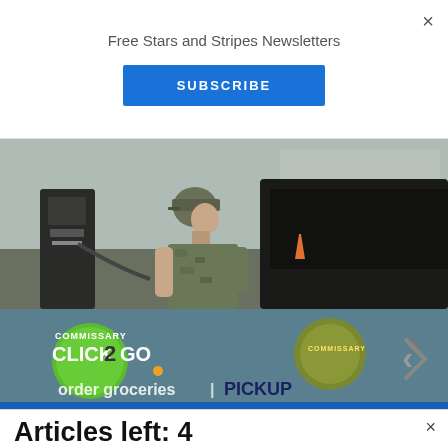Free Stars and Stripes Newsletters
SUBSCRIBE
[Figure (photo): A soldier in camouflage uniform and cap standing at a gas station pump next to a dark vehicle]
[Figure (infographic): Commissary Click2Go advertisement banner with green logo, commissary seal, and text 'order groceries | PICKUP']
Articles left: 4
Subscribe to get unlimited access  Subscribe
Already have an account?  Login here